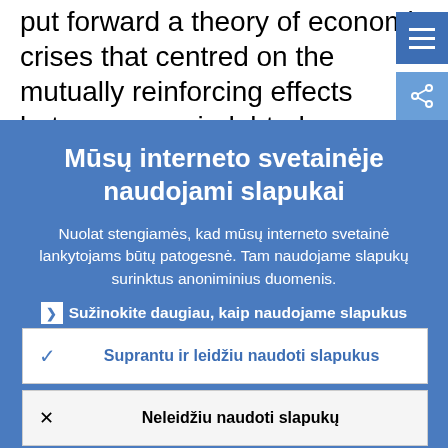put forward a theory of economic crises that centred on the mutually reinforcing effects between over-indebtedness and deflation. [5] According to this view, over-
Mūsų interneto svetainėje naudojami slapukai
Nuolat stengiamės, kad mūsų interneto svetainė lankytojams būtų patogesnė. Tam naudojame slapukų surinktus anoniminius duomenis.
Sužinokite daugiau, kaip naudojame slapukus
Suprantu ir leidžiu naudoti slapukus
Neleidžiu naudoti slapukų